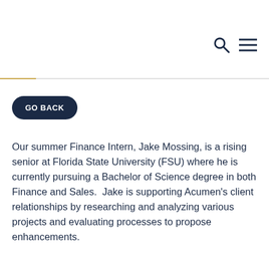GO BACK
Our summer Finance Intern, Jake Mossing, is a rising senior at Florida State University (FSU) where he is currently pursuing a Bachelor of Science degree in both Finance and Sales.  Jake is supporting Acumen’s client relationships by researching and analyzing various projects and evaluating processes to propose enhancements.